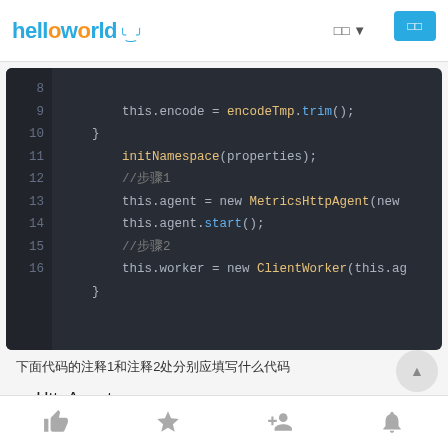helloworld
[Figure (screenshot): Dark-themed code editor showing lines 8-16 of Java/similar code with syntax highlighting. Line 8: this.encode = encodeTmp.trim(); Line 9: } Line 10: initNamespace(properties); Line 11: //步骤1 Line 12: this.agent = new MetricsHttpAgent(new Line 13: this.agent.start(); Line 14: //步骤2 Line 15: this.worker = new ClientWorker(this.ag Line 16: }]
下面代码的注释1和注释2处分别应填写什么代码
HttpAgent
ClientWorker
Footer icons: thumbs-up, star, person-add, notification